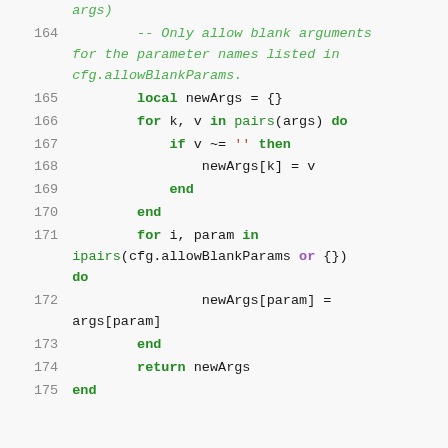Code snippet lines 164-175: Lua code showing argument filtering logic with allowBlankParams